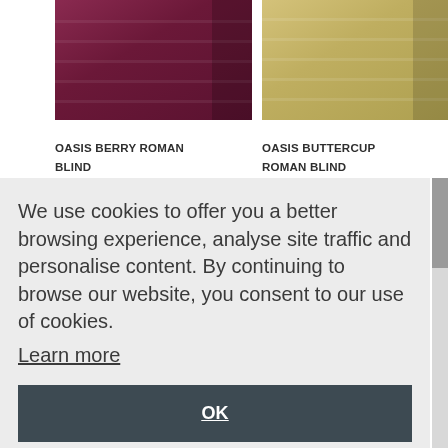[Figure (photo): Dark berry/maroon colored Roman blind fabric folded, shown against light grey background, partially cropped on left side]
[Figure (photo): Buttercup/golden-beige colored Roman blind fabric folded, shown against light grey background, partially cropped on right side]
OASIS BERRY ROMAN BLIND
OASIS BUTTERCUP ROMAN BLIND
We use cookies to offer you a better browsing experience, analyse site traffic and personalise content. By continuing to browse our website, you consent to our use of cookies.
Learn more
OK
OASIS CASHEW
OASIS CHAMPAGNE